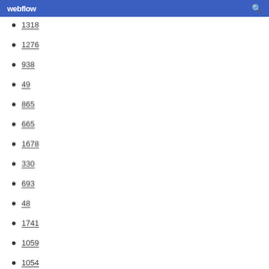webflow
1318
1276
938
49
865
665
1678
330
693
48
1741
1059
1054